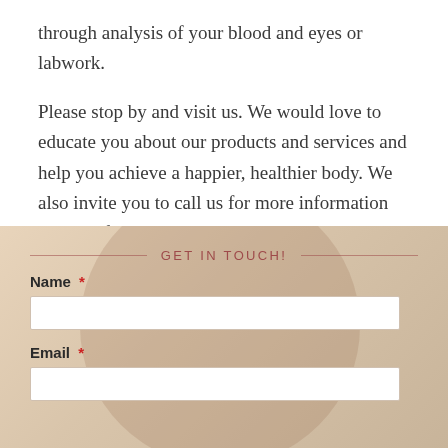through analysis of your blood and eyes or labwork.
Please stop by and visit us. We would love to educate you about our products and services and help you achieve a happier, healthier body. We also invite you to call us for more information on any of our products.
GET IN TOUCH!
Name *
Email *